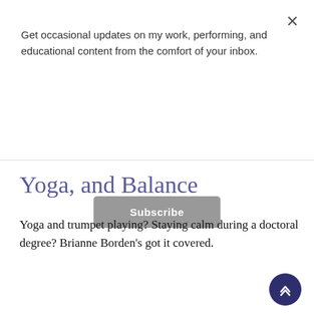Get occasional updates on my work, performing, and educational content from the comfort of your inbox.
Subscribe
Yoga, and Balance
Yoga and trumpet playing? Staying calm during a doctoral degree? Brianne Borden's got it covered.
Read More
July 9, 2017